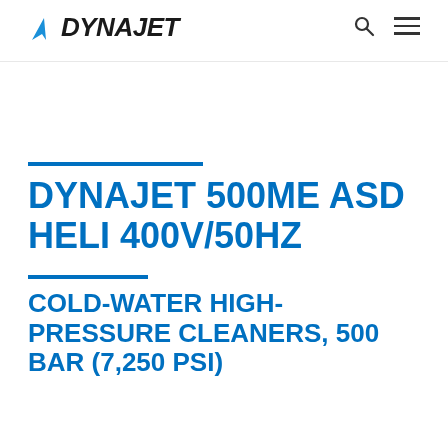DYNAJET
DYNAJET 500ME ASD HELI 400V/50HZ
COLD-WATER HIGH-PRESSURE CLEANERS, 500 BAR (7,250 PSI)